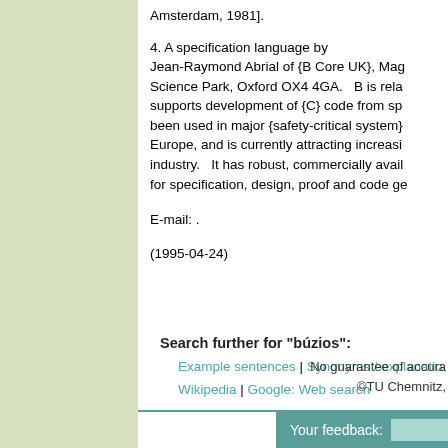Amsterdam, 1981].
4. A specification language by Jean-Raymond Abrial of {B Core UK}, Mag Science Park, Oxford OX4 4GA. B is rela supports development of {C} code from sp been used in major {safety-critical system} Europe, and is currently attracting increasi industry. It has robust, commercially avail for specification, design, proof and code ge
E-mail: .
(1995-04-24)
Search further for "búzios":
Example sentences | Synonyms / explanation Wikipedia | Google: Web search
No guarantee of accuracy ©TU Chemnitz,
Your feedback: